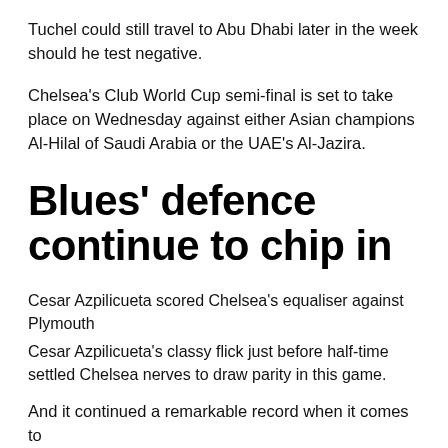Tuchel could still travel to Abu Dhabi later in the week should he test negative.
Chelsea's Club World Cup semi-final is set to take place on Wednesday against either Asian champions Al-Hilal of Saudi Arabia or the UAE's Al-Jazira.
Blues' defence continue to chip in
Cesar Azpilicueta scored Chelsea's equaliser against Plymouth
Cesar Azpilicueta's classy flick just before half-time settled Chelsea nerves to draw parity in this game.
And it continued a remarkable record when it comes to